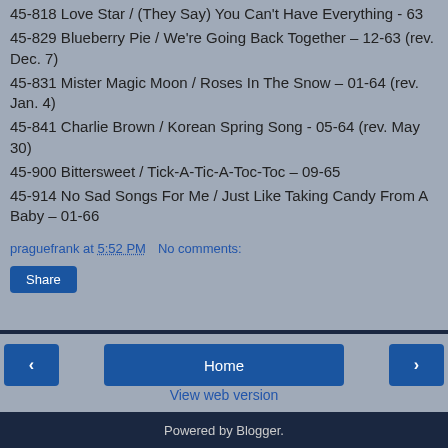45-818 Love Star / (They Say) You Can't Have Everything - 63
45-829 Blueberry Pie / We're Going Back Together – 12-63 (rev. Dec. 7)
45-831 Mister Magic Moon / Roses In The Snow – 01-64 (rev. Jan. 4)
45-841 Charlie Brown / Korean Spring Song - 05-64 (rev. May 30)
45-900 Bittersweet / Tick-A-Tic-A-Toc-Toc – 09-65
45-914 No Sad Songs For Me / Just Like Taking Candy From A Baby – 01-66
praguefrank at 5:52 PM   No comments:
Share
Home
View web version
Powered by Blogger.